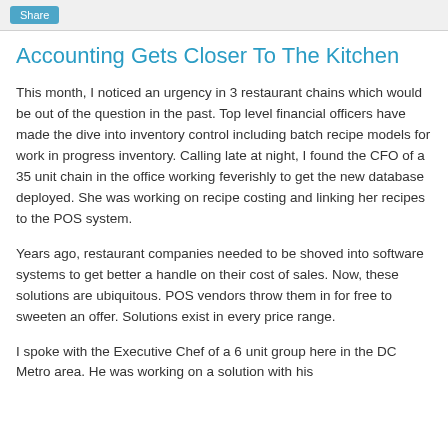Share
Accounting Gets Closer To The Kitchen
This month, I noticed an urgency in 3 restaurant chains which would be out of the question in the past. Top level financial officers have made the dive into inventory control including batch recipe models for work in progress inventory. Calling late at night, I found the CFO of a 35 unit chain in the office working feverishly to get the new database deployed. She was working on recipe costing and linking her recipes to the POS system.
Years ago, restaurant companies needed to be shoved into software systems to get better a handle on their cost of sales. Now, these solutions are ubiquitous. POS vendors throw them in for free to sweeten an offer. Solutions exist in every price range.
I spoke with the Executive Chef of a 6 unit group here in the DC Metro area. He was working on a solution with his